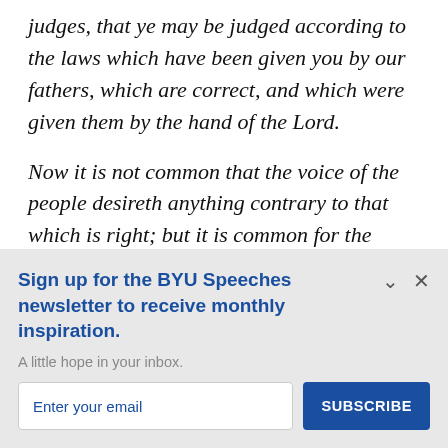judges, that ye may be judged according to the laws which have been given you by our fathers, which are correct, and which were given them by the hand of the Lord.
Now it is not common that the voice of the people desireth anything contrary to that which is right; but it is common for the lesser part of the people to
Sign up for the BYU Speeches newsletter to receive monthly inspiration.
A little hope in your inbox.
Enter your email
SUBSCRIBE